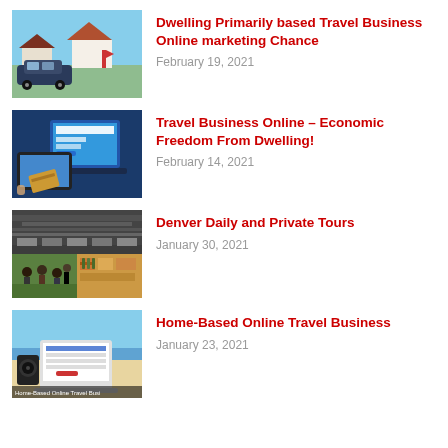[Figure (photo): Suburban neighborhood with cars, houses and blue sky]
Dwelling Primarily based Travel Business Online marketing Chance
February 19, 2021
[Figure (photo): Person using tablet and laptop to book travel online]
Travel Business Online – Economic Freedom From Dwelling!
February 14, 2021
[Figure (photo): Collage of Denver tours: large hall, outdoor tour group, market]
Denver Daily and Private Tours
January 30, 2021
[Figure (photo): Laptop and speaker on desk with travel website, beach background. Caption: Home-Based Online Travel Busi...]
Home-Based Online Travel Business
January 23, 2021